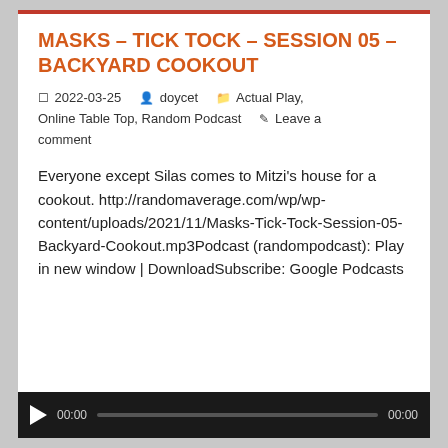MASKS – TICK TOCK – SESSION 05 – BACKYARD COOKOUT
2022-03-25   doycet   Actual Play, Online Table Top, Random Podcast   Leave a comment
Everyone except Silas comes to Mitzi's house for a cookout. http://randomaverage.com/wp/wp-content/uploads/2021/11/Masks-Tick-Tock-Session-05-Backyard-Cookout.mp3Podcast (randompodcast): Play in new window | DownloadSubscribe: Google Podcasts
[Figure (other): Audio player bar with play button, time display 00:00 on both left and right sides, and a progress track]